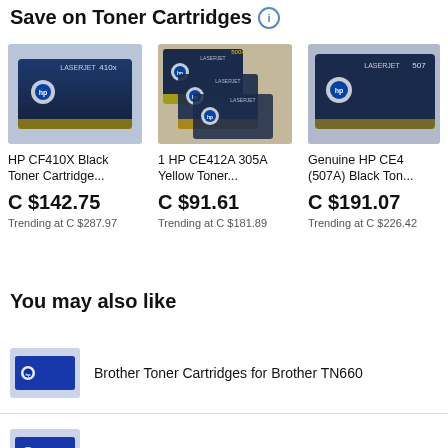Save on Toner Cartridges
[Figure (photo): HP CF410X Black Toner Cartridge box photo]
HP CF410X Black Toner Cartridge...
C $142.75
Trending at C $287.97
[Figure (photo): 1 HP CE412A 305A Yellow Toner cartridge box photo]
1 HP CE412A 305A Yellow Toner...
C $91.61
Trending at C $181.89
[Figure (photo): Genuine HP CE4 (507A) Black Toner cartridge box photo]
Genuine HP CE4 (507A) Black Ton...
C $191.07
Trending at C $226.42
You may also like
[Figure (photo): Brother toner cartridge box thumbnail]
Brother Toner Cartridges for Brother TN660
[Figure (photo): Brother toner cartridge box thumbnail]
Brother TN660 Printer Toner Cartridges for